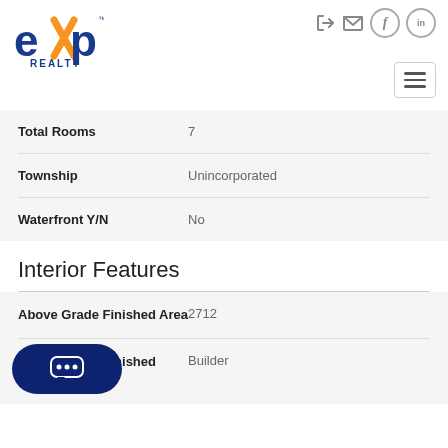[Figure (logo): eXp Realty logo with orange X and blue text]
| Property | Value |
| --- | --- |
| Total Rooms | 7 |
| Township | Unincorporated |
| Waterfront Y/N | No |
Interior Features
| Property | Value |
| --- | --- |
| Above Grade Finished Area | 2712 |
| Above Grade Finished Source | Builder |